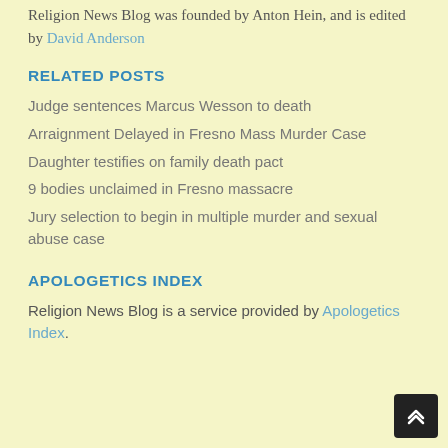Religion News Blog was founded by Anton Hein, and is edited by David Anderson
RELATED POSTS
Judge sentences Marcus Wesson to death
Arraignment Delayed in Fresno Mass Murder Case
Daughter testifies on family death pact
9 bodies unclaimed in Fresno massacre
Jury selection to begin in multiple murder and sexual abuse case
APOLOGETICS INDEX
Religion News Blog is a service provided by Apologetics Index.